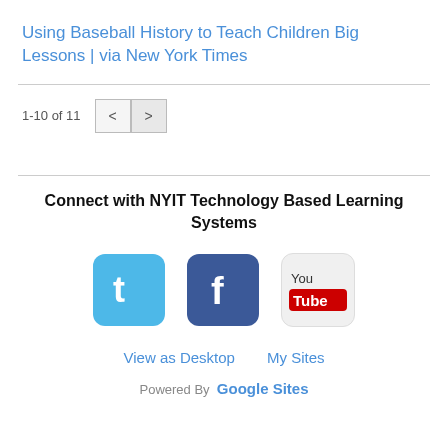Using Baseball History to Teach Children Big Lessons | via New York Times
1-10 of 11
Connect with NYIT Technology Based Learning Systems
[Figure (logo): Twitter logo icon - blue rounded square with white bird/t symbol]
[Figure (logo): Facebook logo icon - blue square with white f symbol]
[Figure (logo): YouTube logo icon - light grey rounded square with YouTube text and red play button]
View as Desktop   My Sites
Powered By Google Sites